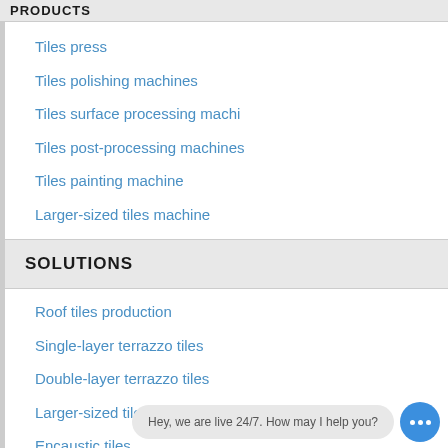PRODUCTS
Tiles press
Tiles polishing machines
Tiles surface processing machi
Tiles post-processing machines
Tiles painting machine
Larger-sized tiles machine
SOLUTIONS
Roof tiles production
Single-layer terrazzo tiles
Double-layer terrazzo tiles
Larger-sized tiles machine
Encaustic tiles
Raised floor tiles/access floo
Hey, we are live 24/7. How may I help you?